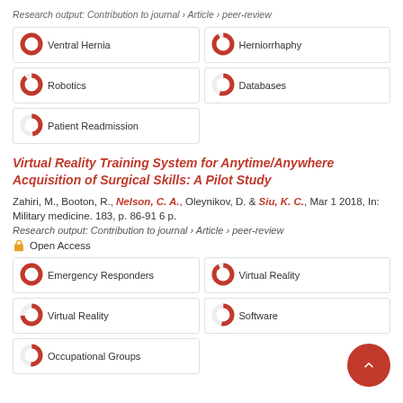Research output: Contribution to journal › Article › peer-review
Ventral Hernia
Herniorrhaphy
Robotics
Databases
Patient Readmission
Virtual Reality Training System for Anytime/Anywhere Acquisition of Surgical Skills: A Pilot Study
Zahiri, M., Booton, R., Nelson, C. A., Oleynikov, D. & Siu, K. C., Mar 1 2018, In: Military medicine. 183, p. 86-91 6 p.
Research output: Contribution to journal › Article › peer-review
Open Access
Emergency Responders
Virtual Reality
Virtual Reality
Software
Occupational Groups